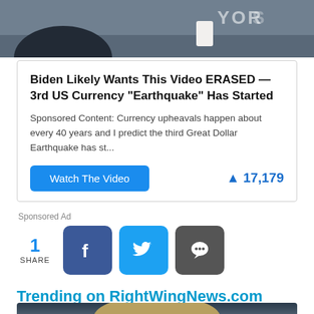[Figure (photo): Partial screenshot of a news/TV studio scene with person at desk and 'YORK' text visible in background]
Biden Likely Wants This Video ERASED — 3rd US Currency "Earthquake" Has Started
Sponsored Content: Currency upheavals happen about every 40 years and I predict the third Great Dollar Earthquake has st...
Watch The Video
🔥 17,179
Sponsored Ad
1 SHARE
Trending on RightWingNews.com
[Figure (photo): Partial photo of a person with curly/wavy hair, appears to be at a news desk or similar setting]